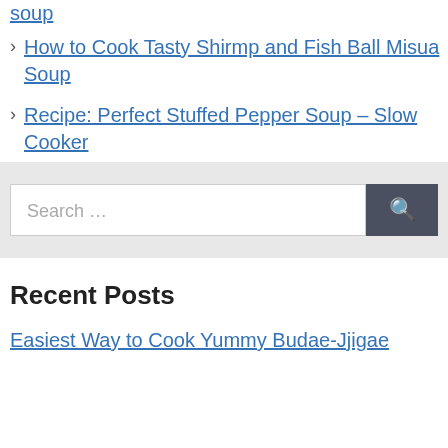soup
How to Cook Tasty Shirmp and Fish Ball Misua Soup
Recipe: Perfect Stuffed Pepper Soup – Slow Cooker
Search …
Recent Posts
Easiest Way to Cook Yummy Budae-Jjigae